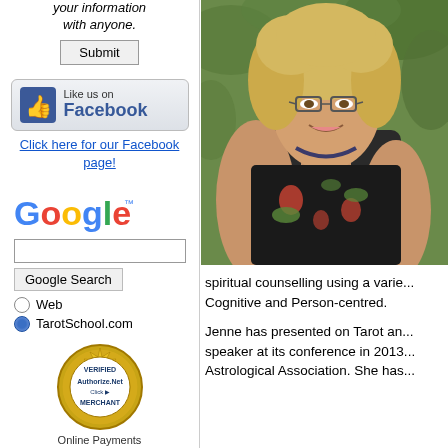your information with anyone.
[Figure (screenshot): Submit button]
[Figure (screenshot): Like us on Facebook button/badge]
Click here for our Facebook page!
[Figure (logo): Google logo]
[Figure (screenshot): Google search box, Google Search button, Web radio button, TarotSchool.com radio button]
[Figure (logo): Authorize.Net Verified Merchant seal]
Online Payments
[Figure (photo): Portrait photo of a woman with curly blonde hair, glasses, wearing a black floral top and bead necklace, outdoors with green foliage background]
spiritual counselling using a varie... Cognitive and Person-centred.
Jenne has presented on Tarot an... speaker at its conference in 2013... Astrological Association. She has...